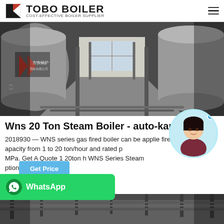TOBO BOILER — COST-EFFECTIVE BOILER SUPPLIER
[Figure (photo): Industrial boiler room with two large cylindrical horizontal boilers bearing Chinese text and logo, connected by pipes, photographed from between the units looking toward a window]
Wns 20 Ton Steam Boiler - auto-karta.pl
2018930 — WNS series gas fired boiler can be applied fired capacity from 1 to 20 ton/hour and rated p MPa. Get A Quote 1 20ton h WNS Series Steam ption
[Figure (photo): Bottom strip showing interior of industrial building with exposed ceiling pipes and structural elements]